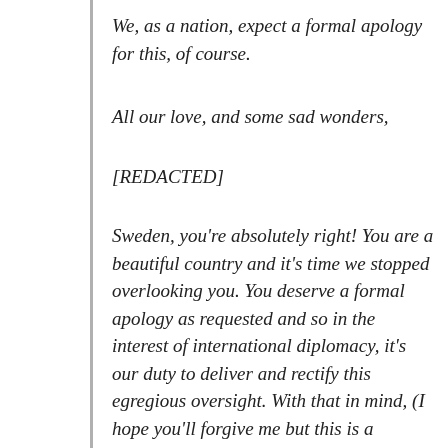We, as a nation, expect a formal apology for this, of course.
All our love, and some sad wonders,
[REDACTED]
Sweden, you're absolutely right! You are a beautiful country and it's time we stopped overlooking you. You deserve a formal apology as requested and so in the interest of international diplomacy, it's our duty to deliver and rectify this egregious oversight. With that in mind, (I hope you'll forgive me but this is a location-specific image to